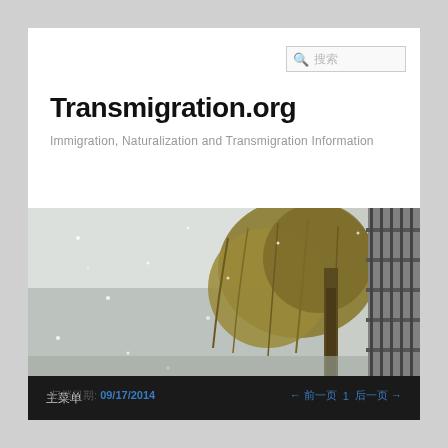搜索
Transmigration.org
Immigration, Naturalization and Transmigration Information
[Figure (photo): A willow tree in snow near a waterfront, with railing visible on the right side]
主菜单
归档日期: 09/17/2014
← 前一页 1 后一页 →